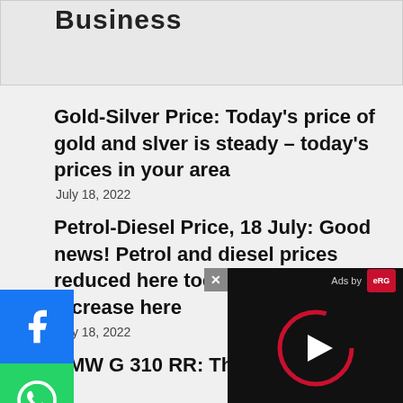Business
Gold-Silver Price: Today’s price of gold and silver is steady – today’s prices in your area
July 18, 2022
Petrol-Diesel Price, 18 July: Good news! Petrol and diesel prices reduced here today – only an increase here
July 18, 2022
BMW G 310 RR: The BMW Bike...
[Figure (screenshot): Video ad overlay with play button, close button (x), and 'Ads by eRG' branding on dark background]